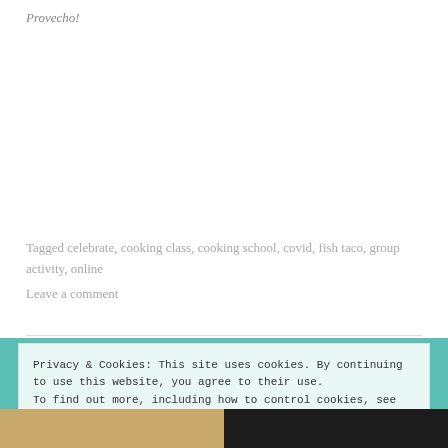Provecho!
Tagged celebrate, cooking class, cooking school, covid, fish taco, group activity, online
Leave a comment
Privacy & Cookies: This site uses cookies. By continuing to use this website, you agree to their use.
To find out more, including how to control cookies, see here: Cookie Policy
Close and accept
[Figure (photo): Bottom strip showing partial food or cooking-related images with golden/brown and dark tones]